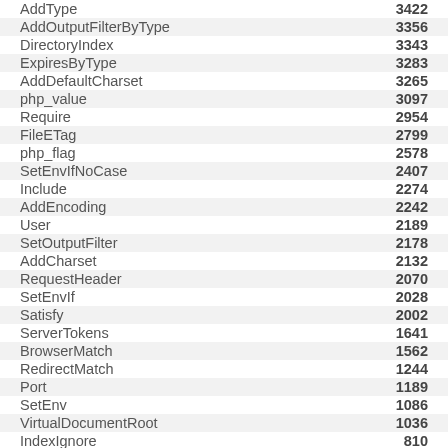| Directive | Count |
| --- | --- |
| AddType | 3422 |
| AddOutputFilterByType | 3356 |
| DirectoryIndex | 3343 |
| ExpiresByType | 3283 |
| AddDefaultCharset | 3265 |
| php_value | 3097 |
| Require | 2954 |
| FileETag | 2799 |
| php_flag | 2578 |
| SetEnvIfNoCase | 2407 |
| Include | 2274 |
| AddEncoding | 2242 |
| User | 2189 |
| SetOutputFilter | 2178 |
| AddCharset | 2132 |
| RequestHeader | 2070 |
| SetEnvIf | 2028 |
| Satisfy | 2002 |
| ServerTokens | 1641 |
| BrowserMatch | 1562 |
| RedirectMatch | 1244 |
| Port | 1189 |
| SetEnv | 1086 |
| VirtualDocumentRoot | 1036 |
| IndexIgnore | 810 |